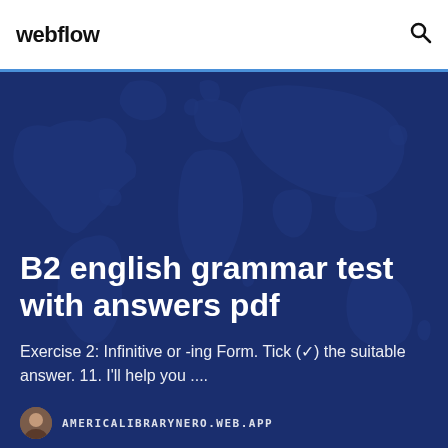webflow
B2 english grammar test with answers pdf
Exercise 2: Infinitive or -ing Form. Tick (✓) the suitable answer. 11. I'll help you ....
AMERICALIBRARYNERO.WEB.APP